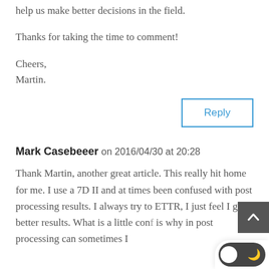help us make better decisions in the field.
Thanks for taking the time to comment!
Cheers,
Martin.
Reply
Mark Casebeeer on 2016/04/30 at 20:28
Thank Martin, another great article. This really hit home for me. I use a 7D II and at times been confused with post processing results. I always try to ETTR, I just feel I get better results. What is a little con... is why in post processing can sometimes I